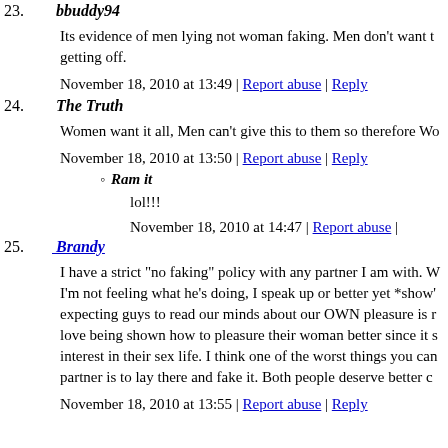23. bbuddy94
Its evidence of men lying not woman faking. Men don't want t... getting off.
November 18, 2010 at 13:49 | Report abuse | Reply
24. The Truth
Women want it all, Men can't give this to them so therefore Wo...
November 18, 2010 at 13:50 | Report abuse | Reply
Ram it
lol!!!
November 18, 2010 at 14:47 | Report abuse |
25. Brandy
I have a strict "no faking" policy with any partner I am with. W... I'm not feeling what he's doing, I speak up or better yet *show*... expecting guys to read our minds about our OWN pleasure is r... love being shown how to pleasure their woman better since it s... interest in their sex life. I think one of the worst things you can... partner is to lay there and fake it. Both people deserve better c...
November 18, 2010 at 13:55 | Report abuse | Reply